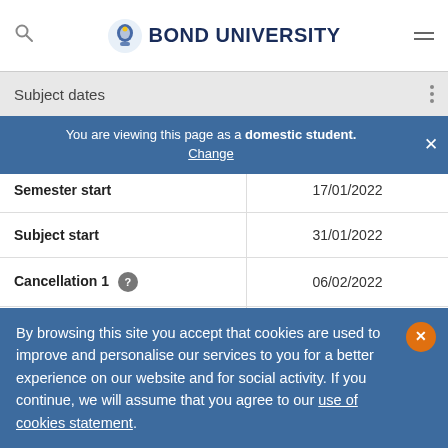BOND UNIVERSITY
Subject dates
You are viewing this page as a domestic student. Change
|  |  |
| --- | --- |
| Semester start | 17/01/2022 |
| Subject start | 31/01/2022 |
| Cancellation 1 ? | 06/02/2022 |
| Cancellation 2 ? | 07/02/2022 |
| Last enrolment | 04/02/2022 |
By browsing this site you accept that cookies are used to improve and personalise our services to you for a better experience on our website and for social activity. If you continue, we will assume that you agree to our use of cookies statement.